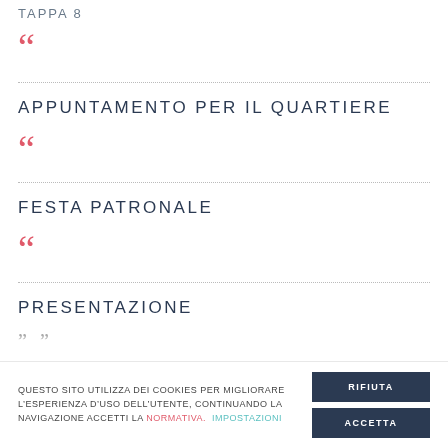TAPPA 8
““
APPUNTAMENTO PER IL QUARTIERE
““
FESTA PATRONALE
““
PRESENTAZIONE
””
QUESTO SITO UTILIZZA DEI COOKIES PER MIGLIORARE L’ESPERIENZA D’USO DELL’UTENTE, CONTINUANDO LA NAVIGAZIONE ACCETTI LA NORMATIVA.  IMPOSTAZIONI